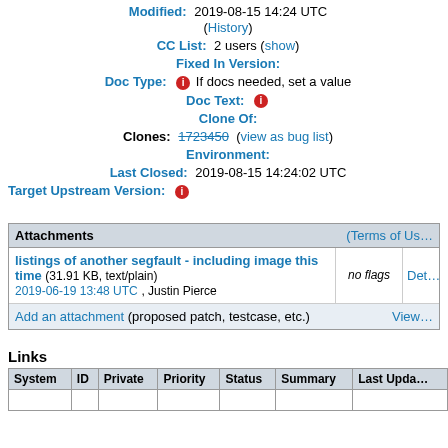Modified: 2019-08-15 14:24 UTC (History)
CC List: 2 users (show)
Fixed In Version:
Doc Type: [i] If docs needed, set a value
Doc Text: [i]
Clone Of:
Clones: 1723450 (view as bug list)
Environment:
Last Closed: 2019-08-15 14:24:02 UTC
Target Upstream Version: [i]
| Attachments | (Terms of Us… |  | Det… |
| --- | --- | --- | --- |
| listings of another segfault - including image this time (31.91 KB, text/plain)
2019-06-19 13:48 UTC, Justin Pierce | no flags | Det… |
| Add an attachment (proposed patch, testcase, etc.) |  | View… |
Links
| System | ID | Private | Priority | Status | Summary | Last Upda… |
| --- | --- | --- | --- | --- | --- | --- |